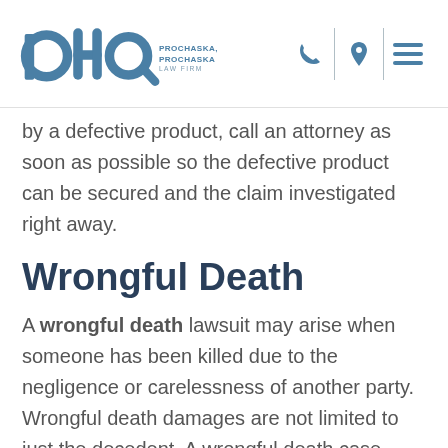PHP Prochaska, Howell & Prochaska LLC Law Firm
by a defective product, call an attorney as soon as possible so the defective product can be secured and the claim investigated right away.
Wrongful Death
A wrongful death lawsuit may arise when someone has been killed due to the negligence or carelessness of another party. Wrongful death damages are not limited to just the decedent. A wrongful death case allows the decedent's loved ones to recover from the loss as well. The majority of wrongful death cases result from motor vehicle